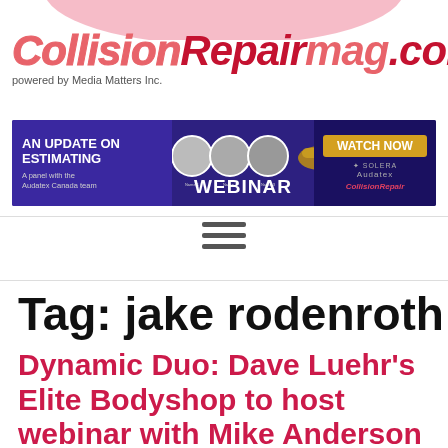[Figure (logo): CollisionRepairmag.com logo with pink/red italic bold text and tagline 'powered by Media Matters Inc.']
[Figure (screenshot): Banner advertisement for Audatex Canada webinar 'An Update on Estimating' with panel photos, car image, WATCH NOW button, Solera and Audatex branding]
[Figure (illustration): Hamburger menu icon with three horizontal bars]
Tag: jake rodenroth
Dynamic Duo: Dave Luehr’s Elite Bodyshop to host webinar with Mike Anderson